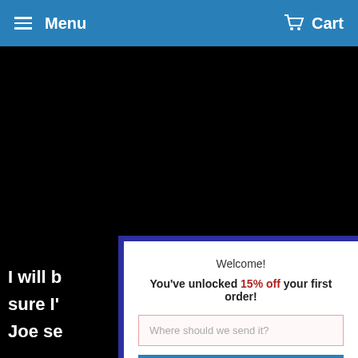Menu   Cart
[Figure (screenshot): Black hero/banner area behind the popup]
I will b sure I' Joe se
Welcome!
You've unlocked 15% off your first order!
Where should we send it?
GET DISCOUNT NOW